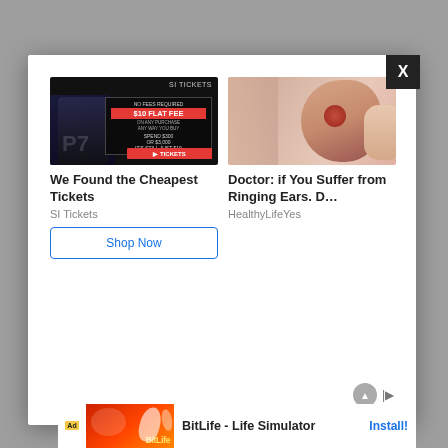Interview Questions for
[Figure (screenshot): Modal popup overlay containing two advertisement cards: (1) SI Tickets ad showing a football player with '$10 FLAT FEE' text and a 'Shop Now' button; (2) Doctor: if You Suffer from Ringing Ears ad with an ear photo and HealthyLifeYes source. A black X close button is in the top-right corner of the modal. An Outbrain/ad network logo is at the bottom right.]
[Figure (screenshot): Bottom banner advertisement for BitLife - Life Simulator app with red/orange graphic and 'Install!' button in blue.]
question and answer are accountable. The comp...ease due t...